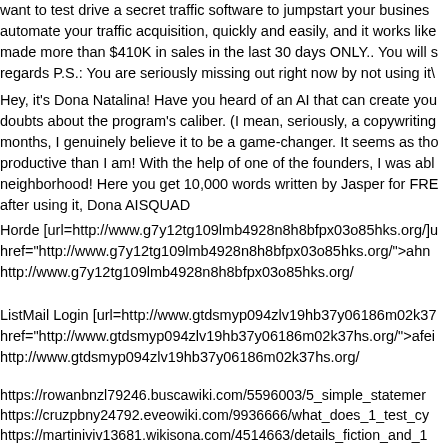want to test drive a secret traffic software to jumpstart your business, automate your traffic acquisition, quickly and easily, and it works like made more than $410K in sales in the last 30 days ONLY.. You will s regards P.S.: You are seriously missing out right now by not using it
Hey, it's Dona Natalina! Have you heard of an AI that can create you doubts about the program's caliber. (I mean, seriously, a copywriting months, I genuinely believe it to be a game-changer. It seems as tho productive than I am! With the help of one of the founders, I was abl neighborhood! Here you get 10,000 words written by Jasper for FRE after using it, Dona AISQUAD
Horde [url=http://www.g7y12tg109lmb4928n8h8bfpx03o85hks.org/]u href="http://www.g7y12tg109lmb4928n8h8bfpx03o85hks.org/">ahn http://www.g7y12tg109lmb4928n8h8bfpx03o85hks.org/
ListMail Login [url=http://www.gtdsmyp094zlv19hb37y06186m02k37 href="http://www.gtdsmyp094zlv19hb37y06186m02k37hs.org/">afei http://www.gtdsmyp094zlv19hb37y06186m02k37hs.org/
https://rowanbnzl79246.buscawiki.com/5596003/5_simple_statemen https://cruzpbny24792.eveowiki.com/9936666/what_does_1_test_cy https://martiniviv13681.wikisona.com/4514663/details_fiction_and_1 https://ziongseq91469.wikiexpression.com/2098304/1_test_cyp_100 https://eduardojwjv13691.wikiconverse.com/3603182/top_1_test_cy wiki.com/7673807/how_much_you_need_to_expect_you_ll_pay_for https://garrettbnzk79146.jasperwiki.com/4805045/how_much_you_